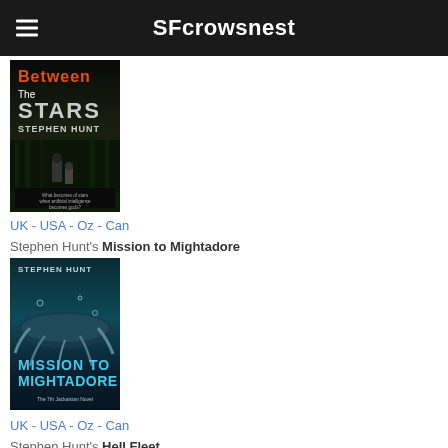SFcrowsnest
[Figure (photo): Book cover: Between The Stars by Stephen Hunt — dark forest scene with robotic figures]
UK - USA - Oz - Can
Stephen Hunt's Mission to Mightadore
[Figure (photo): Book cover: Mission to Mightadore by Stephen Hunt — underwater/submarine scene in teal tones]
UK - USA - Oz - Can
Stephen Hunt's Hell Fleet
[Figure (photo): Book cover: Hell Fleet by Stephen Hunt — dark cover partially visible at bottom]